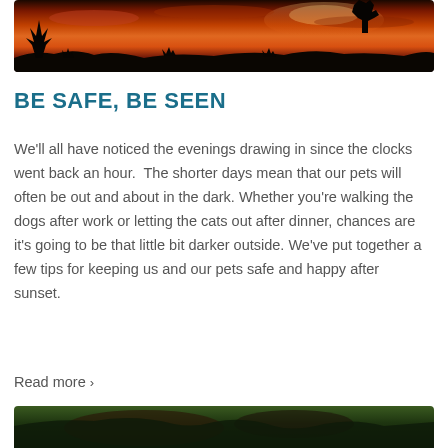[Figure (photo): A silhouette of a person and a dog against a dramatic orange and red sunset sky]
BE SAFE, BE SEEN
We'll all have noticed the evenings drawing in since the clocks went back an hour. The shorter days mean that our pets will often be out and about in the dark. Whether you're walking the dogs after work or letting the cats out after dinner, chances are it's going to be that little bit darker outside. We've put together a few tips for keeping us and our pets safe and happy after sunset.
Read more ›
[Figure (photo): Partial view of a dark animal (appears to be a dog or similar pet) in an outdoor setting]